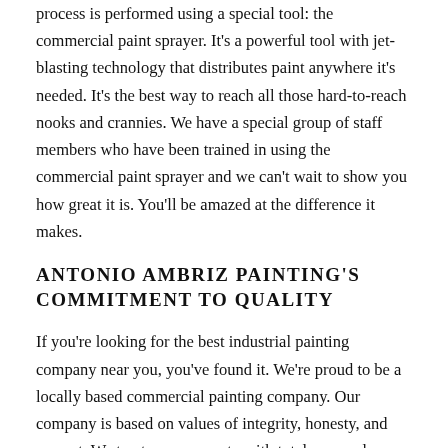process is performed using a special tool: the commercial paint sprayer. It's a powerful tool with jet-blasting technology that distributes paint anywhere it's needed. It's the best way to reach all those hard-to-reach nooks and crannies. We have a special group of staff members who have been trained in using the commercial paint sprayer and we can't wait to show you how great it is. You'll be amazed at the difference it makes.
ANTONIO AMBRIZ PAINTING'S COMMITMENT TO QUALITY
If you're looking for the best industrial painting company near you, you've found it. We're proud to be a locally based commercial painting company. Our company is based on values of integrity, honesty, and respect. We treat your property with total care and attention to detail. And we always use the best quality tools, materials, paints and equipment. We stand behind every job we do, which is why we have so many happy clients here in Aptos. If you need industrial painting services, don't hesitate to contact us